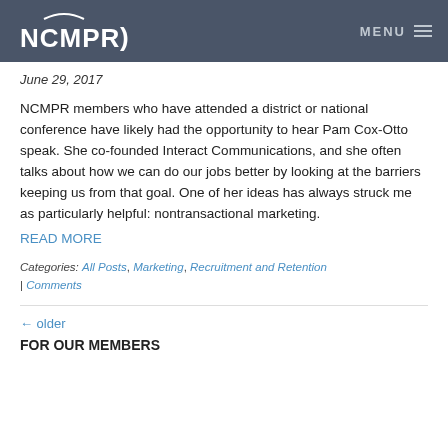NCMPR | MENU
June 29, 2017
NCMPR members who have attended a district or national conference have likely had the opportunity to hear Pam Cox-Otto speak. She co-founded Interact Communications, and she often talks about how we can do our jobs better by looking at the barriers keeping us from that goal. One of her ideas has always struck me as particularly helpful: nontransactional marketing. READ MORE
Categories: All Posts, Marketing, Recruitment and Retention | Comments
← older
FOR OUR MEMBERS